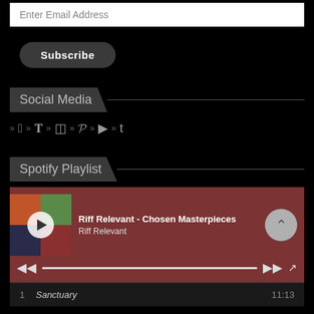Enter Email Address
Subscribe
Social Media
» f » » » » P » ▶ » t
Spotify Playlist
[Figure (other): Spotify embedded playlist player showing 'Riff Relevant - Chosen Masterpieces' by Riff Relevant with album art grid, play button, progress bar, and controls]
1   Sanctuary                                    11:13